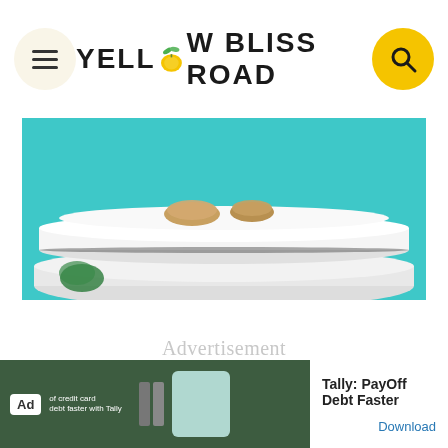Yellow Bliss Road
[Figure (photo): Close-up of stacked white plates with food on a teal/cyan background]
Advertisement
[Figure (screenshot): Ad banner for Tally: PayOff Debt Faster with Download button]